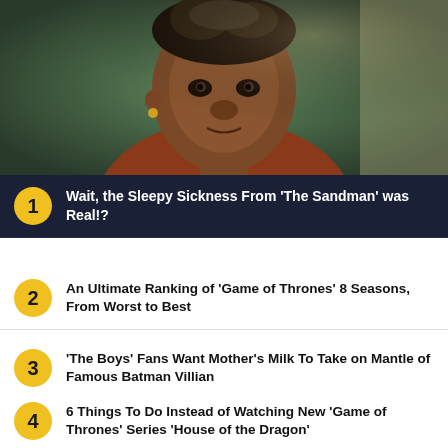[Figure (photo): Close-up portrait of an elderly Black woman with gray hair, looking directly at the camera, wearing earrings and an orange/rust-colored top. Dark background behind her.]
1 Wait, the Sleepy Sickness From 'The Sandman' was Real!?
2 An Ultimate Ranking of 'Game of Thrones' 8 Seasons, From Worst to Best
3 'The Boys' Fans Want Mother's Milk To Take on Mantle of Famous Batman Villian
4 6 Things To Do Instead of Watching New 'Game of Thrones' Series 'House of the Dragon'